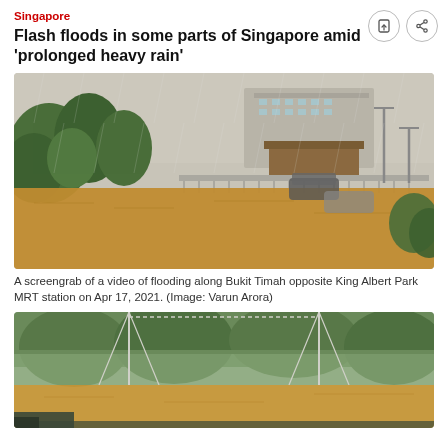Singapore
Flash floods in some parts of Singapore amid 'prolonged heavy rain'
[Figure (photo): Screengrab showing flooding along Bukit Timah road opposite King Albert Park MRT station, with brown floodwater covering the street, cars partially submerged, trees on the left, buildings and streetlights visible]
A screengrab of a video of flooding along Bukit Timah opposite King Albert Park MRT station on Apr 17, 2021. (Image: Varun Arora)
[Figure (photo): Photo showing a sports court or facility partially submerged in brownish floodwater, with green netting/fencing visible, trees in the background under rainy conditions]